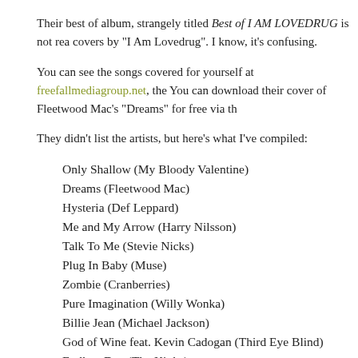Their best of album, strangely titled Best of I AM LOVEDRUG is not rea covers by "I Am Lovedrug". I know, it's confusing.
You can see the songs covered for yourself at freefallmediagroup.net, the You can download their cover of Fleetwood Mac's "Dreams" for free via th
They didn't list the artists, but here's what I've compiled:
Only Shallow (My Bloody Valentine)
Dreams (Fleetwood Mac)
Hysteria (Def Leppard)
Me and My Arrow (Harry Nilsson)
Talk To Me (Stevie Nicks)
Plug In Baby (Muse)
Zombie (Cranberries)
Pure Imagination (Willy Wonka)
Billie Jean (Michael Jackson)
God of Wine feat. Kevin Cadogan (Third Eye Blind)
Endless Day (The Kinks)